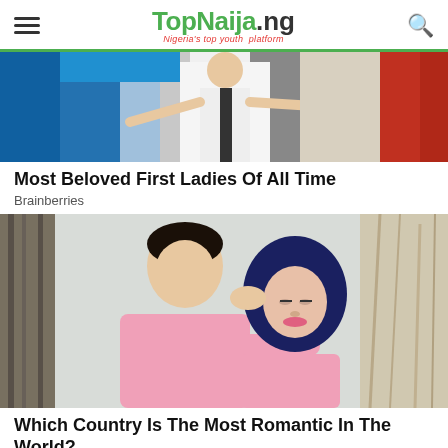TopNaija.ng — Nigeria's top youth platform
[Figure (photo): Woman in white outfit with arms outstretched, colorful background]
Most Beloved First Ladies Of All Time
Brainberries
[Figure (photo): A couple, man in pink shirt kissing a woman wearing a dark navy hijab and pink top, outdoor setting]
Which Country Is The Most Romantic In The World?